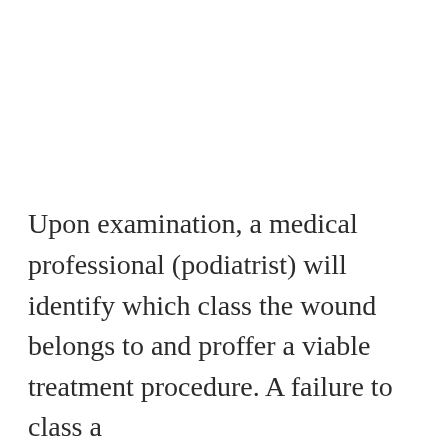Upon examination, a medical professional (podiatrist) will identify which class the wound belongs to and proffer a viable treatment procedure. A failure to class a